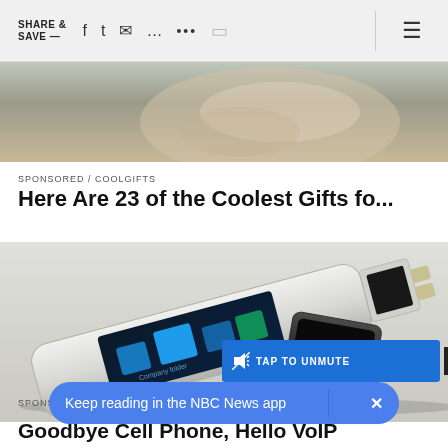SHARE & SAVE — [social icons: facebook, twitter, email, chat, more, bookmark] [hamburger menu]
[Figure (photo): Close-up photo of hand holding something, blurred background, visible at top]
SPONSORED / COOLGIFTS
Here Are 23 of the Coolest Gifts fo...
[Figure (photo): Futuristic USB flash drive concept with a small touchscreen display showing file folders. Black USB cap lying next to it on a white surface.]
TAP TO UNMUTE
SPONS
Goodbye Cell Phone, Hello VoIP
Keep reading in the NBC News app